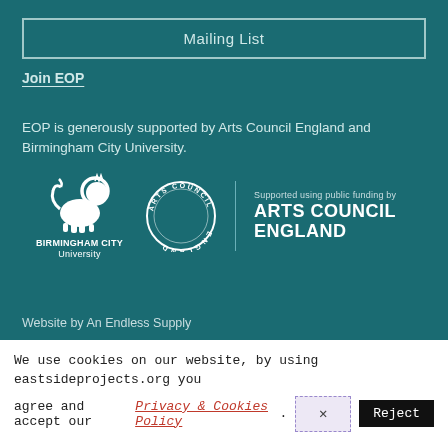Mailing List
Join EOP
EOP is generously supported by Arts Council England and Birmingham City University.
[Figure (logo): Birmingham City University lion logo and Arts Council England circular logo with text 'Supported using public funding by ARTS COUNCIL ENGLAND']
Website by An Endless Supply
We use cookies on our website, by using eastsideprojects.org you agree and accept our Privacy & Cookies Policy. [X] Reject